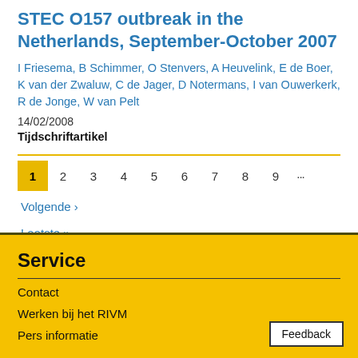STEC O157 outbreak in the Netherlands, September-October 2007
I Friesema, B Schimmer, O Stenvers, A Heuvelink, E de Boer, K van der Zwaluw, C de Jager, D Notermans, I van Ouwerkerk, R de Jonge, W van Pelt
14/02/2008
Tijdschriftartikel
1 2 3 4 5 6 7 8 9 ... Volgende › Laatste »
Service
Contact
Werken bij het RIVM
Pers informatie
Feedback